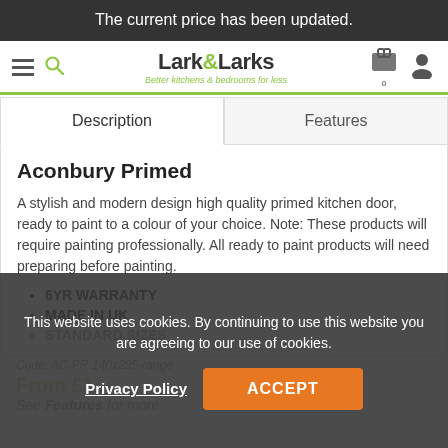The current price has been updated.
Lark & Larks — Better kitchens & bedrooms for less
Description | Features
Aconbury Primed
A stylish and modern design high quality primed kitchen door, ready to paint to a colour of your choice. Note: These products will require painting professionally. All ready to paint products will need preparing before painting.
6YR WARRANTY
MADE IN UK
STANDARD SIZES
This website uses cookies. By continuing to use this website you are agreeing to our use of cookies.
Privacy Policy  ACCEPT